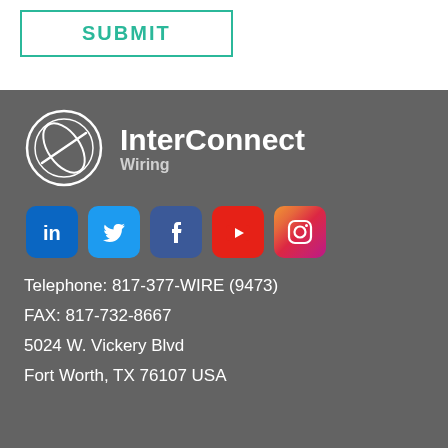SUBMIT
[Figure (logo): InterConnect Wiring logo with circular emblem and company name]
[Figure (infographic): Social media icons: LinkedIn, Twitter, Facebook, YouTube, Instagram]
Telephone: 817-377-WIRE (9473)
FAX: 817-732-8667
5024 W. Vickery Blvd
Fort Worth,  TX  76107  USA